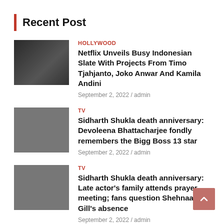Recent Post
HOLLYWOOD
Netflix Unveils Busy Indonesian Slate With Projects From Timo Tjahjanto, Joko Anwar And Kamila Andini
September 2, 2022 / admin
TV
Sidharth Shukla death anniversary: Devoleena Bhattacharjee fondly remembers the Bigg Boss 13 star
September 2, 2022 / admin
TV
Sidharth Shukla death anniversary: Late actor's family attends prayer meeting; fans question Shehnaaz Gill's absence
September 2, 2022 / admin